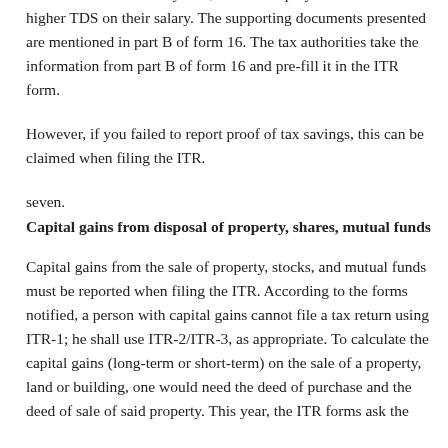for the old income tax system, to their employers to avoid a higher TDS on their salary. The supporting documents presented are mentioned in part B of form 16. The tax authorities take the information from part B of form 16 and pre-fill it in the ITR form.
However, if you failed to report proof of tax savings, this can be claimed when filing the ITR.
seven.
Capital gains from disposal of property, shares, mutual funds
Capital gains from the sale of property, stocks, and mutual funds must be reported when filing the ITR. According to the forms notified, a person with capital gains cannot file a tax return using ITR-1; he shall use ITR-2/ITR-3, as appropriate. To calculate the capital gains (long-term or short-term) on the sale of a property, land or building, one would need the deed of purchase and the deed of sale of said property. This year, the ITR forms ask the